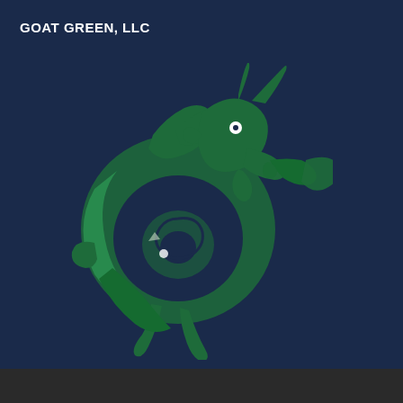GOAT GREEN, LLC
[Figure (logo): Green stylized goat logo on dark navy blue background. The goat is rendered in green tones, curled in a spiral shape with horns and limbs extended, playing a trumpet. The body forms a circular 'G' shape. Eyes are highlighted in white.]